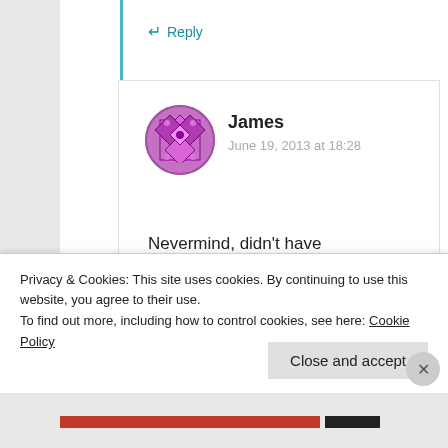↵ Reply
[Figure (illustration): Circular avatar icon with purple/violet geometric pattern for user James]
James
June 19, 2013 at 18:28
Nevermind, didn't have Publishing features enabled which did the trick. Thanks again
Privacy & Cookies: This site uses cookies. By continuing to use this website, you agree to their use.
To find out more, including how to control cookies, see here: Cookie Policy
Close and accept